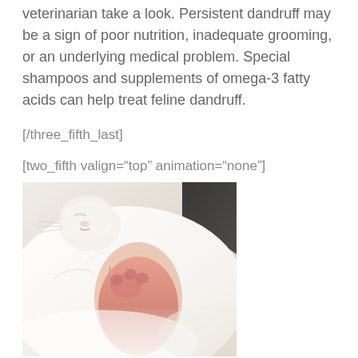veterinarian take a look. Persistent dandruff may be a sign of poor nutrition, inadequate grooming, or an underlying medical problem. Special shampoos and supplements of omega-3 fatty acids can help treat feline dandruff.
[/three_fifth_last]
[two_fifth valign="top" animation="none"]
[Figure (photo): Close-up photo of a cat grooming itself, showing its paw raised near its face, with white fur and a pink paw visible.]
[/two_fifth]